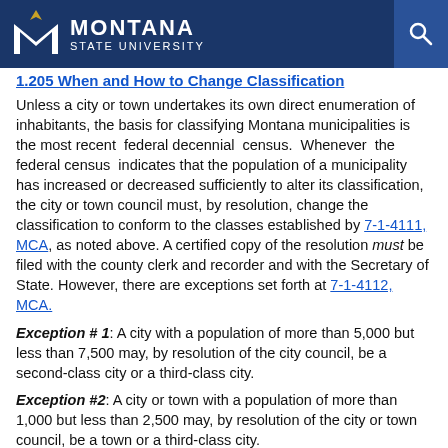[Figure (logo): Montana State University logo with blue header bar and search icon]
1.205  When and How to Change Classification
Unless a city or town undertakes its own direct enumeration of inhabitants, the basis for classifying Montana municipalities is the most recent federal decennial census. Whenever the federal census indicates that the population of a municipality has increased or decreased sufficiently to alter its classification, the city or town council must, by resolution, change the classification to conform to the classes established by 7-1-4111, MCA, as noted above. A certified copy of the resolution must be filed with the county clerk and recorder and with the Secretary of State. However, there are exceptions set forth at 7-1-4112, MCA.
Exception # 1: A city with a population of more than 5,000 but less than 7,500 may, by resolution of the city council, be a second-class city or a third-class city.
Exception #2: A city or town with a population of more than 1,000 but less than 2,500 may, by resolution of the city or town council, be a town or a third-class city.